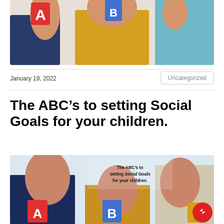[Figure (photo): Children and adult holding colorful letter blocks (A, B) up to the camera against a white background.]
January 19, 2022
Uncategorized
The ABC’s to setting Social Goals for your children.
[Figure (photo): Promotional image showing children and a smiling woman holding letter blocks A, B, C, with overlaid bold text reading 'The ABC’s to setting Social Goals for your children.' A red Facebook Messenger button appears in the bottom right corner.]